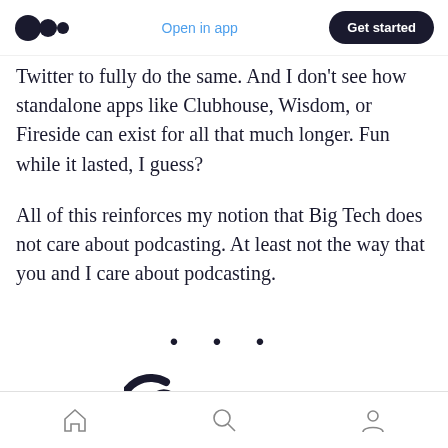Medium app header: logo, Open in app, Get started
Twitter to fully do the same. And I don't see how standalone apps like Clubhouse, Wisdom, or Fireside can exist for all that much longer. Fun while it lasted, I guess?
All of this reinforces my notion that Big Tech does not care about podcasting. At least not the way that you and I care about podcasting.
[Figure (other): Section divider with three dots (· · ·)]
[Figure (logo): Captivate logo — circular C icon and Captivate wordmark]
Bottom navigation bar with home, search, and profile icons